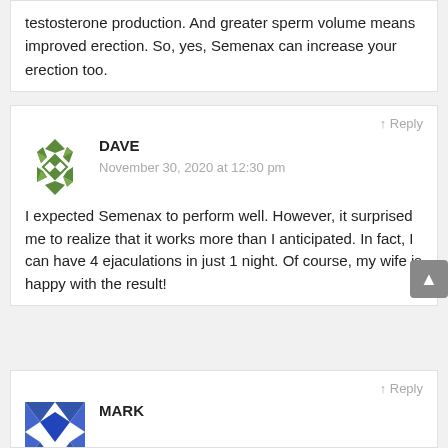testosterone production. And greater sperm volume means improved erection. So, yes, Semenax can increase your erection too.
↑ Reply
DAVE
November 30, 2020 at 12:30 pm
I expected Semenax to perform well. However, it surprised me to realize that it works more than I anticipated. In fact, I can have 4 ejaculations in just 1 night. Of course, my wife is happy with the result!
↑ Reply
MARK